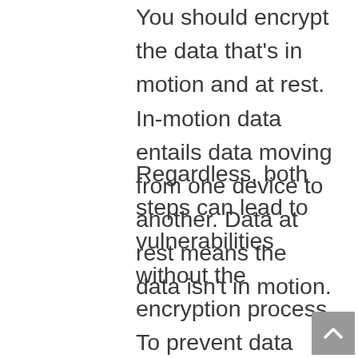You should encrypt the data that's in motion and at rest. In-motion data entails data moving from one device to another. Data at rest means the data isn't in motion.
Regardless, both steps can lead to vulnerabilities without the encryption process. To prevent data breaches, the data should contain encryption so the data remains protected across the board. For example, it protects remote workers or patients if they access information using unsecured